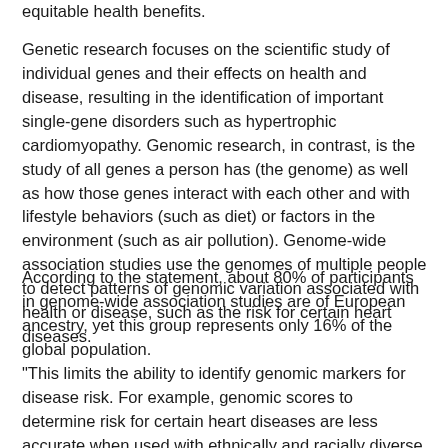equitable health benefits.
Genetic research focuses on the scientific study of individual genes and their effects on health and disease, resulting in the identification of important single-gene disorders such as hypertrophic cardiomyopathy. Genomic research, in contrast, is the study of all genes a person has (the genome) as well as how those genes interact with each other and with lifestyle behaviors (such as diet) or factors in the environment (such as air pollution). Genome-wide association studies use the genomes of multiple people to detect patterns of genomic variation associated with health or disease, such as the risk for certain heart diseases.
According to the statement, about 80% of participants in genome-wide association studies are of European ancestry, yet this group represents only 16% of the global population.
"This limits the ability to identify genomic markers for disease risk. For example, genomic scores to determine risk for certain heart diseases are less accurate when used with ethnically and racially diverse populations or Indigenous peoples than when used with